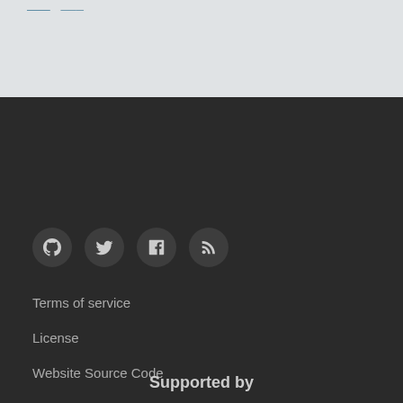[Figure (screenshot): Top bar with light gray background and two blue navigation links partially visible]
[Figure (other): Four social media icon circles: GitHub, Twitter, Facebook, RSS feed]
Terms of service
License
Website Source Code
© 2008 - 2022 Yii
Design: Eshill
Supported by